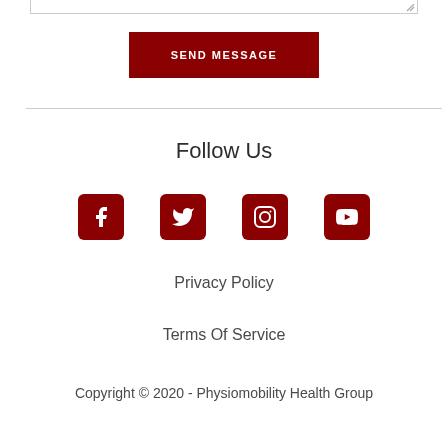[Figure (other): Bottom edge of a textarea form field with resize handle]
SEND MESSAGE
Follow Us
[Figure (other): Social media icons: Facebook, Twitter, Instagram, YouTube — dark red rounded squares]
Privacy Policy
Terms Of Service
Copyright © 2020 - Physiomobility Health Group